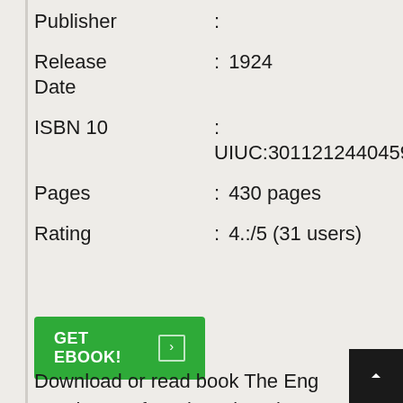Publisher :
Release Date : 1924
ISBN 10 : UIUC:30112124404598
Pages : 430 pages
Rating : 4.:/5 (31 users)
[Figure (other): Green GET EBOOK! button with arrow icon]
Download or read book The Eng Catalogue of Books written by Sampson Low and published by . This book was